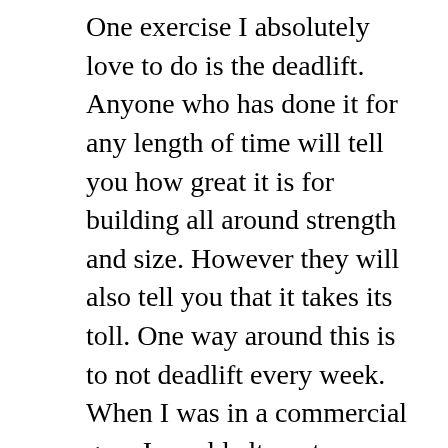One exercise I absolutely love to do is the deadlift. Anyone who has done it for any length of time will tell you how great it is for building all around strength and size. However they will also tell you that it takes its toll. One way around this is to not deadlift every week. When I was in a commercial gym I would alternate deadlift weeks with weighted hyperextensions. This both alleviated the stress of deadlifting too often and also had the bonus of strengthening my lower back so I could deadlift heavier weight! In my home gym I had no good replacement for hypers. So I needed a hyperextension bench. But again these are tough to find used, and to get a commercial quality one retail was out of the question. Once